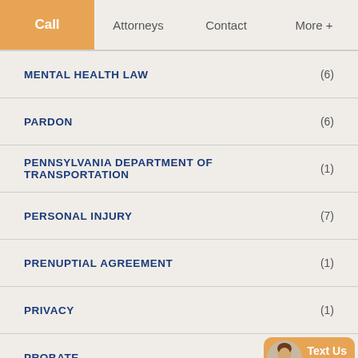Call | Attorneys | Contact | More +
MENTAL HEALTH LAW (6)
PARDON (6)
PENNSYLVANIA DEPARTMENT OF TRANSPORTATION (1)
PERSONAL INJURY (7)
PRENUPTIAL AGREEMENT (1)
PRIVACY (1)
PROBATE
[Figure (illustration): Chat widget with female avatar and 'Text Us Now' button in orange]